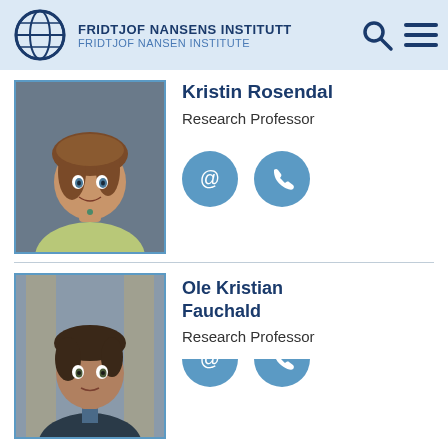FRIDTJOF NANSENS INSTITUTT / FRIDTJOF NANSEN INSTITUTE
Kristin Rosendal
Research Professor
[Figure (photo): Portrait photo of Kristin Rosendal, a woman with brown hair, smiling, wearing a light green top.]
Ole Kristian Fauchald
Research Professor
[Figure (photo): Portrait photo of Ole Kristian Fauchald, a man with dark brown hair, wearing a jacket.]